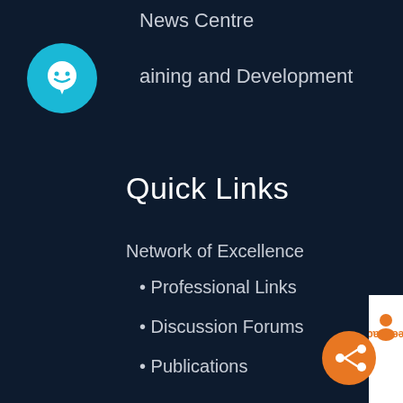News Centre
aining and Development
[Figure (illustration): Cyan circular chat bubble icon with a white smiley/chat face inside]
Quick Links
Network of Excellence
Professional Links
Discussion Forums
Publications
Polls
ACC Store
Contact Us
Career Centre
[Figure (illustration): White vertical Feedback tab with orange text and person icon on right edge]
[Figure (illustration): Orange circular share/network icon button at bottom right]